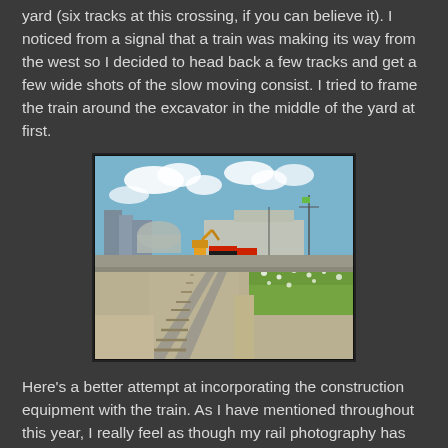yard (six tracks at this crossing, if you can believe it). I noticed from a signal that a train was making its way from the west so I decided to head back a few tracks and get a few wide shots of the slow moving consist. I tried to frame the train around the excavator in the middle of the yard at first.
[Figure (photo): Railroad yard photo showing train tracks in foreground converging toward the horizon, with an excavator/construction equipment and CN locomotives in the middle distance, green vegetation on the right, blue sky with clouds, and city buildings in the background.]
Here's a better attempt at incorporating the construction equipment with the train. As I have mentioned throughout this year, I really feel as though my rail photography has improved this year, since I have paid better attention to